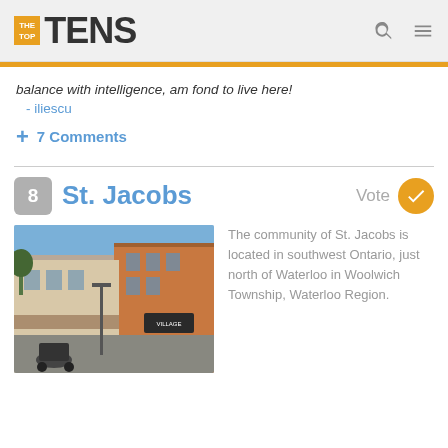THE TOP TENS
balance with intelligence, am fond to live here!
- iliescu
+ 7 Comments
8  St. Jacobs  Vote
[Figure (photo): Street scene of St. Jacobs, Ontario showing historic brick buildings, storefronts, a horse-drawn carriage on the street, and blue sky.]
The community of St. Jacobs is located in southwest Ontario, just north of Waterloo in Woolwich Township, Waterloo Region.